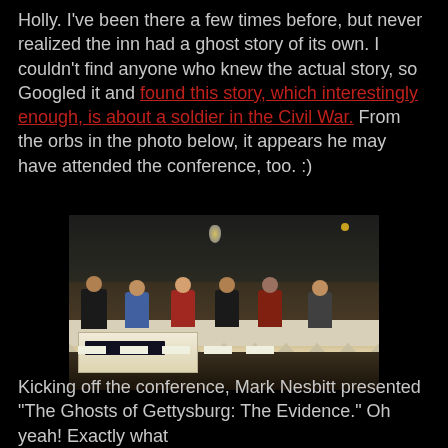Holly. I've been there a few times before, but never realized the inn had a ghost story of its own. I couldn't find anyone who knew the actual story, so Googled it and found this story, which interestingly enough, is about a soldier in the Civil War. From the orbs in the photo below, it appears he may have attended the conference, too. :)
[Figure (photo): A panel of six people seated at a long table covered with a white tablecloth in a darkened conference room or banquet hall. The room has a drop ceiling with recessed and pendant lighting. A smaller round table with audio/visual equipment is visible in the foreground.]
Kicking off the conference, Mark Nesbitt presented "The Ghosts of Gettysburg: The Evidence." Oh yeah! Exactly what